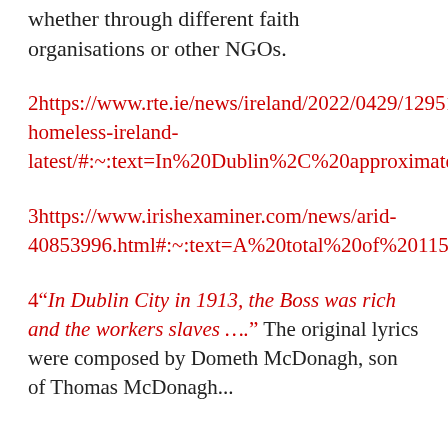whether through different faith organisations or other NGOs.
2https://www.rte.ie/news/ireland/2022/0429/1295183-homeless-ireland-latest/#:~:text=In%20Dublin%2C%20approximately%20413%20families,not%20surprised%22%20by%20the%20figures.
3https://www.irishexaminer.com/news/arid-40853996.html#:~:text=A%20total%20of%20115%20homeless,the%20number%20was%20under%2050.
4“In Dublin City in 1913, the Boss was rich and the workers slaves ….” The original lyrics were composed by Dometh McDonagh, son of Thomas McDonagh...